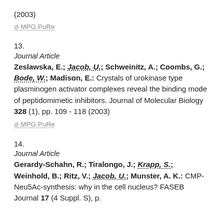(2003)
⊘ MPG.PuRe
13.
Journal Article
Zeslawska, E.; Jacob, U.; Schweinitz, A.; Coombs, G.; Bode, W.; Madison, E.: Crystals of urokinase type plasminogen activator complexes reveal the binding mode of peptidomimetic inhibitors. Journal of Molecular Biology 328 (1), pp. 109 - 118 (2003)
⊘ MPG.PuRe
14.
Journal Article
Gerardy-Schahn, R.; Tiralongo, J.; Krapp, S.; Weinhold, B.; Ritz, V.; Jacob, U.; Munster, A. K.: CMP-Neu5Ac-synthesis: why in the cell nucleus? FASEB Journal 17 (4 Suppl. S), p.